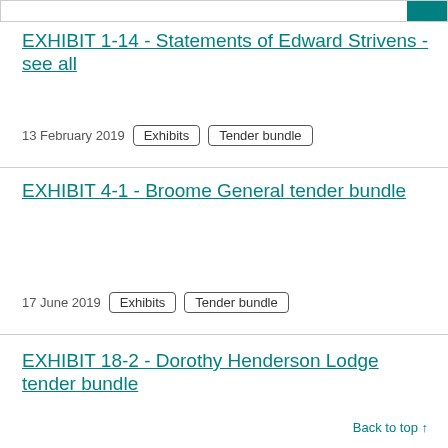EXHIBIT 1-14 - Statements of Edward Strivens - see all
13 February 2019   Exhibits   Tender bundle
EXHIBIT 4-1 - Broome General tender bundle
17 June 2019   Exhibits   Tender bundle
EXHIBIT 18-2 - Dorothy Henderson Lodge tender bundle
Back to top ↑